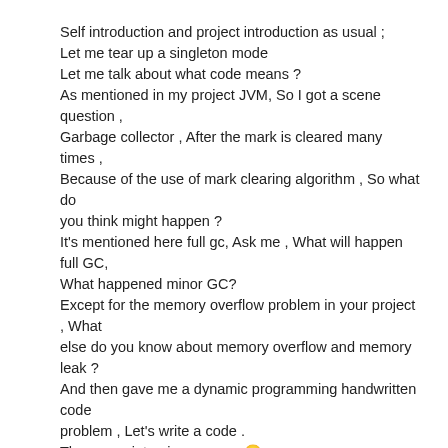Self introduction and project introduction as usual ;
Let me tear up a singleton mode
Let me talk about what code means ?
As mentioned in my project JVM, So I got a scene question ,
Garbage collector , After the mark is cleared many times ,
Because of the use of mark clearing algorithm , So what do you think might happen ?
It's mentioned here full gc, Ask me , What will happen full GC, What happened minor GC?
Except for the memory overflow problem in your project , What else do you know about memory overflow and memory leak ?
And then gave me a dynamic programming handwritten code problem , Let's write a code .
Three way interview answer 🙂
Pinduoduo HR Noodles
Let me introduce myself
Why do you choose pinduoduo ?
What are your greatest strengths and weaknesses